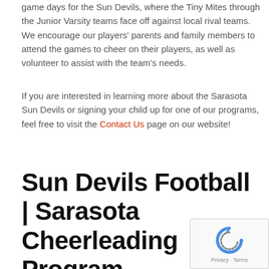game days for the Sun Devils, where the Tiny Mites through the Junior Varsity teams face off against local rival teams. We encourage our players' parents and family members to attend the games to cheer on their players, as well as volunteer to assist with the team's needs.
If you are interested in learning more about the Sarasota Sun Devils or signing your child up for one of our programs, feel free to visit the Contact Us page on our website!
Sun Devils Football | Sarasota Cheerleading Program
[Figure (other): reCAPTCHA widget showing a circular arrow logo with 'Privacy · Terms' text below]